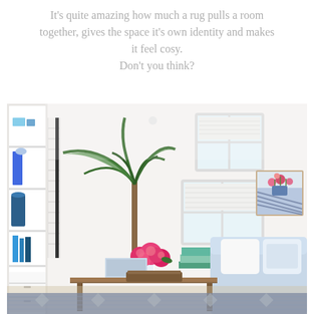It's quite amazing how much a rug pulls a room together, gives the space it's own identity and makes it feel cosy. Don't you think?
[Figure (photo): Bright, airy living room interior with white walls, built-in white shelving unit on the left with blue and white decorative items, a tall green palm plant in the center, pink peonies in a vase on a wooden coffee table, a floral artwork on the right wall, light blue armchairs, and plantation shutters on the windows. A blue and white patterned rug is partially visible at the bottom.]